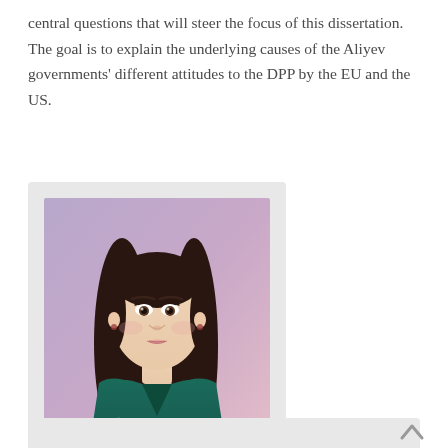central questions that will steer the focus of this dissertation. The goal is to explain the underlying causes of the Aliyev governments' different attitudes to the DPP by the EU and the US.
[Figure (photo): Portrait photo of a young woman with dark hair, wearing a teal/dark green v-neck blouse, posed against a purple/lavender gradient background. The photo is mounted in a light gray card/frame.]